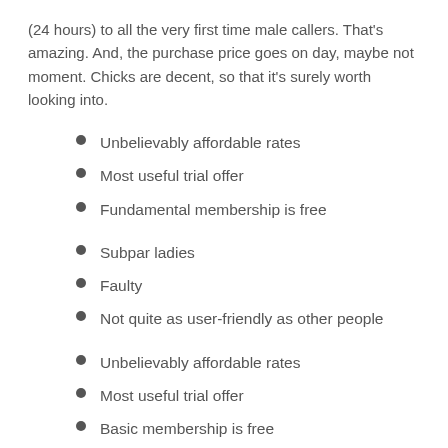(24 hours) to all the very first time male callers. That's amazing. And, the purchase price goes on day, maybe not moment. Chicks are decent, so that it's surely worth looking into.
Unbelievably affordable rates
Most useful trial offer
Fundamental membership is free
Subpar ladies
Faulty
Not quite as user-friendly as other people
Unbelievably affordable rates
Most useful trial offer
Basic membership is free
Subpar women
Faulty